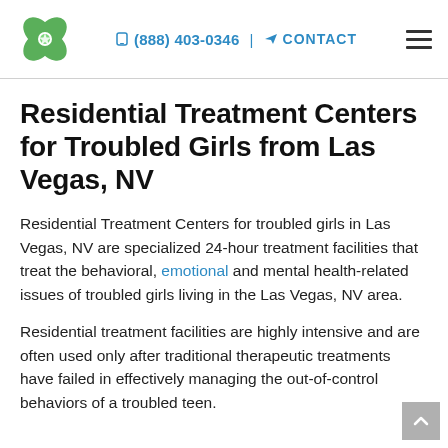(888) 403-0346 | CONTACT
Residential Treatment Centers for Troubled Girls from Las Vegas, NV
Residential Treatment Centers for troubled girls in Las Vegas, NV are specialized 24-hour treatment facilities that treat the behavioral, emotional and mental health-related issues of troubled girls living in the Las Vegas, NV area.
Residential treatment facilities are highly intensive and are often used only after traditional therapeutic treatments have failed in effectively managing the out-of-control behaviors of a troubled teen.